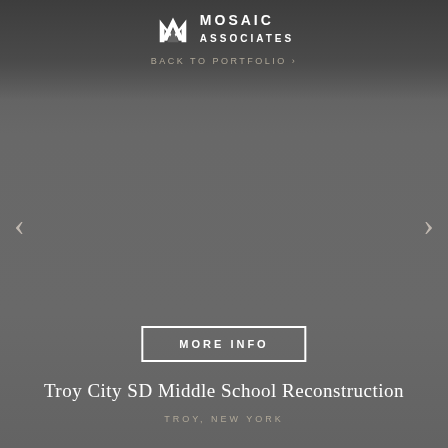MOSAIC ASSOCIATES
BACK TO PORTFOLIO ›
[Figure (other): Gray empty image slideshow area with left and right navigation arrows]
MORE INFO
Troy City SD Middle School Reconstruction
TROY, NEW YORK